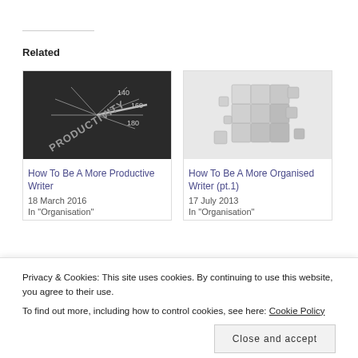Related
[Figure (photo): Grayscale speedometer with 'PRODUCTIVITY' text, showing speed markings 140, 160, 180]
How To Be A More Productive Writer
18 March 2016
In "Organisation"
[Figure (photo): 3D cube made of small blocks, partially disassembled, grayscale on light background]
How To Be A More Organised Writer (pt.1)
17 July 2013
In "Organisation"
[Figure (photo): Partially visible dark image with warm-toned object, third related article card]
26 May 2021
Privacy & Cookies: This site uses cookies. By continuing to use this website, you agree to their use.
To find out more, including how to control cookies, see here: Cookie Policy
Close and accept